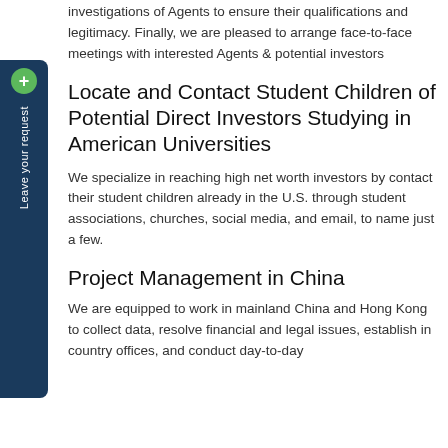investigations of Agents to ensure their qualifications and legitimacy. Finally, we are pleased to arrange face-to-face meetings with interested Agents & potential investors
Locate and Contact Student Children of Potential Direct Investors Studying in American Universities
We specialize in reaching high net worth investors by contact their student children already in the U.S. through student associations, churches, social media, and email, to name just a few.
Project Management in China
We are equipped to work in mainland China and Hong Kong to collect data, resolve financial and legal issues, establish in country offices, and conduct day-to-day